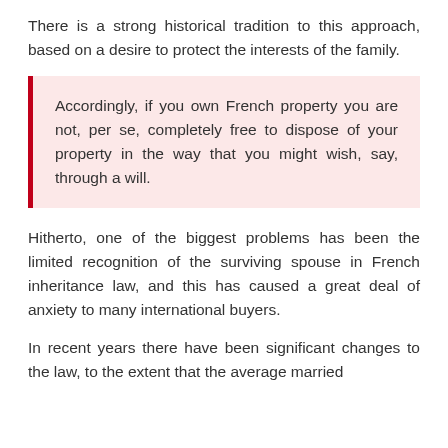There is a strong historical tradition to this approach, based on a desire to protect the interests of the family.
Accordingly, if you own French property you are not, per se, completely free to dispose of your property in the way that you might wish, say, through a will.
Hitherto, one of the biggest problems has been the limited recognition of the surviving spouse in French inheritance law, and this has caused a great deal of anxiety to many international buyers.
In recent years there have been significant changes to the law, to the extent that the average married